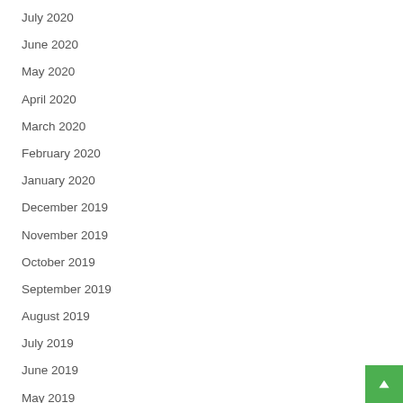July 2020
June 2020
May 2020
April 2020
March 2020
February 2020
January 2020
December 2019
November 2019
October 2019
September 2019
August 2019
July 2019
June 2019
May 2019
April 2019
March 2019